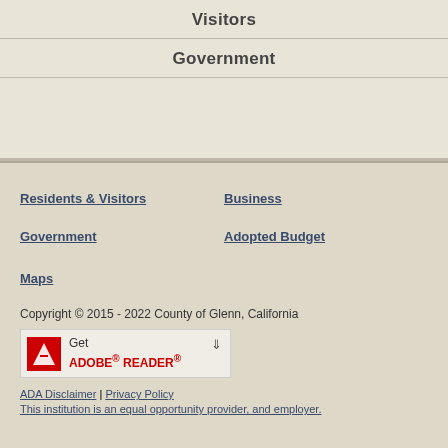Visitors
Government
Residents & Visitors
Business
Government
Adopted Budget
Maps
Copyright © 2015 - 2022 County of Glenn, California
[Figure (logo): Get Adobe Reader badge with red Adobe icon and download arrow]
ADA Disclaimer | Privacy Policy
This institution is an equal opportunity provider, and employer.